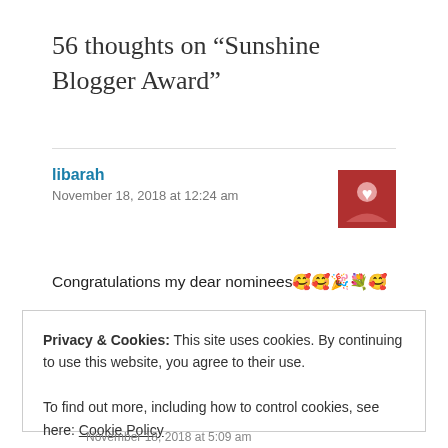56 thoughts on “Sunshine Blogger Award”
libarah
November 18, 2018 at 12:24 am
Congratulations my dear nominees🥰🥰🎉🎐🥰
Privacy & Cookies: This site uses cookies. By continuing to use this website, you agree to their use.
To find out more, including how to control cookies, see here: Cookie Policy
Close and accept
November 18, 2018 at 5:09 am